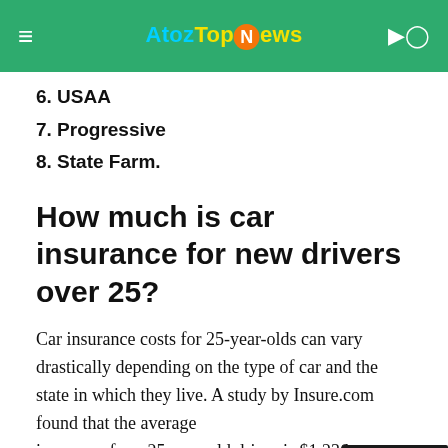AtozTopNews
6. USAA
7. Progressive
8. State Farm.
How much is car insurance for new drivers over 25?
Car insurance costs for 25-year-olds can vary drastically depending on the type of car and the state in which they live. A study by Insure.com found that the average insurance for a 25-year-old driver is $1,236 per year.